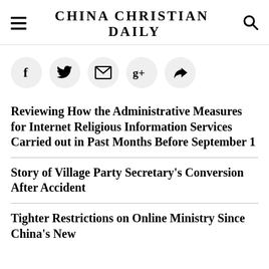CHINA CHRISTIAN DAILY
[Figure (infographic): Social sharing icons row: Facebook, Twitter, Email, Google+, Share/Forward — each in a light gray circle]
Reviewing How the Administrative Measures for Internet Religious Information Services Carried out in Past Months Before September 1
Story of Village Party Secretary's Conversion After Accident
Tighter Restrictions on Online Ministry Since China's New Internet Religious Regulation Took...